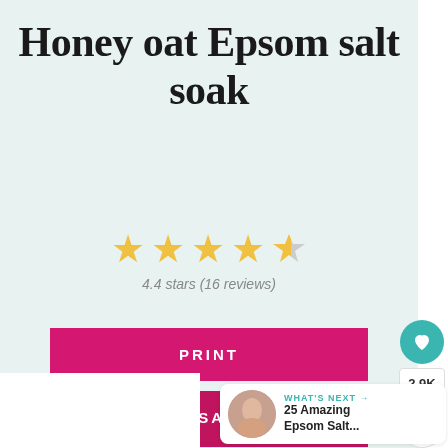Honey oat Epsom salt soak
[Figure (other): 4.4 star rating shown as 4 full gold stars and 1 half-gold/half-grey star]
4.4 stars (16 reviews)
PRINT
SAVE
[Figure (other): Heart icon favourite button with 2.9K count and share button on right sidebar]
WHAT'S NEXT → 25 Amazing Epsom Salt...